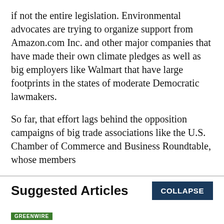if not the entire legislation. Environmental advocates are trying to organize support from Amazon.com Inc. and other major companies that have made their own climate pledges as well as big employers like Walmart that have large footprints in the states of moderate Democratic lawmakers.
So far, that effort lags behind the opposition campaigns of big trade associations like the U.S. Chamber of Commerce and Business Roundtable, whose members
Suggested Articles
GREENWIRE | White House announces regulations, DOE nominees | BY Kelsey Brugger | 09/02/2022 03:45 PM EDT | Read More >>
GREENWIRE | Murkowski, GOP challenger clash over Haaland, drilling,